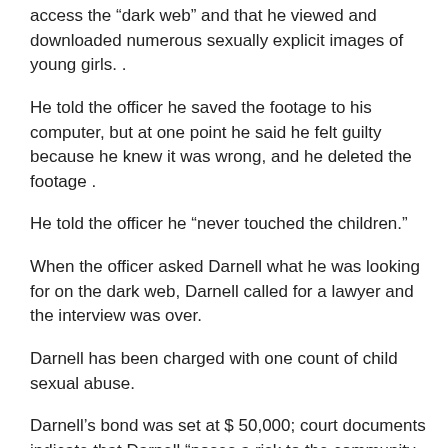access the “dark web” and that he viewed and downloaded numerous sexually explicit images of young girls. .
He told the officer he saved the footage to his computer, but at one point he said he felt guilty because he knew it was wrong, and he deleted the footage .
He told the officer he “never touched the children.”
When the officer asked Darnell what he was looking for on the dark web, Darnell called for a lawyer and the interview was over.
Darnell has been charged with one count of child sexual abuse.
Darnell’s bond was set at $ 50,000; court documents indicate that Darnell “poses a risk to the community for its continued use and attempts to cover up his behaviors that prey on children.”